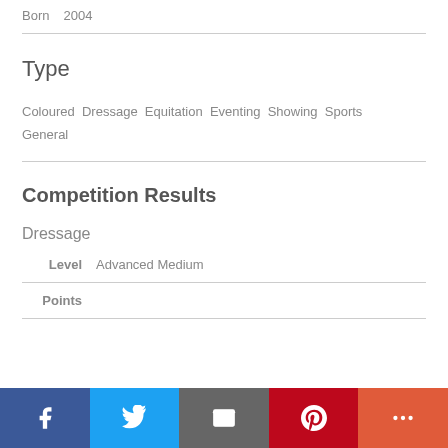Born   2004
Type
Coloured  Dressage  Equitation  Eventing  Showing  Sports General
Competition Results
Dressage
Level   Advanced Medium
Points
[Figure (other): Social media share buttons bar: Facebook (blue), Twitter (light blue), Email (grey), Pinterest (red), More/Plus (orange-red)]